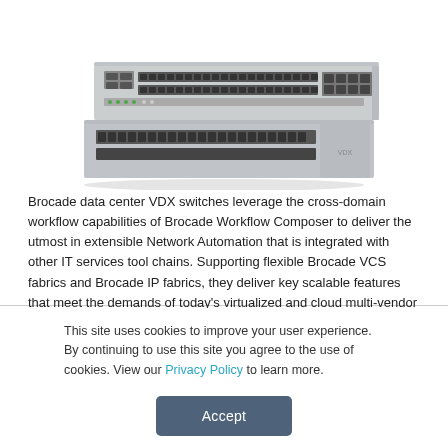[Figure (photo): Two stacked Brocade VDX network switches, gray rackmount units with multiple ports on the front panel]
Brocade data center VDX switches leverage the cross-domain workflow capabilities of Brocade Workflow Composer to deliver the utmost in extensible Network Automation that is integrated with other IT services tool chains. Supporting flexible Brocade VCS fabrics and Brocade IP fabrics, they deliver key scalable features that meet the demands of today's virtualized and cloud multi-vendor environments.
This site uses cookies to improve your user experience. By continuing to use this site you agree to the use of cookies. View our Privacy Policy to learn more.